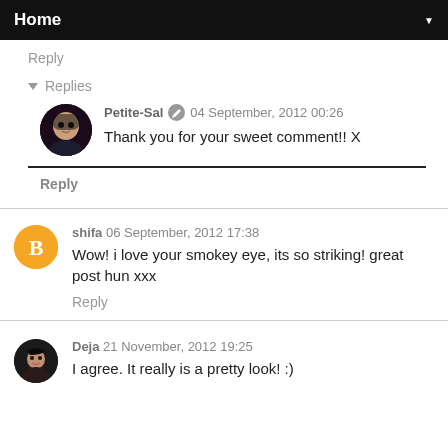Home
Reply
▾ Replies
Petite-Sal  04 September, 2012 00:26
Thank you for your sweet comment!! X
Reply
shifa  06 September, 2012 17:38
Wow! i love your smokey eye, its so striking! great post hun xxx
Reply
Deja  21 November, 2012 19:25
I agree. It really is a pretty look! :)